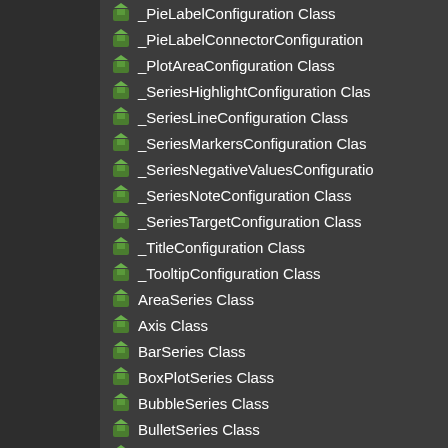_PieLabelConfiguration Class
_PieLabelConnectorConfiguration
_PlotAreaConfiguration Class
_SeriesHighlightConfiguration Class
_SeriesLineConfiguration Class
_SeriesMarkersConfiguration Class
_SeriesNegativeValuesConfiguration
_SeriesNoteConfiguration Class
_SeriesTargetConfiguration Class
_TitleConfiguration Class
_TooltipConfiguration Class
AreaSeries Class
Axis Class
BarSeries Class
BoxPlotSeries Class
BubbleSeries Class
BulletSeries Class
CandleStickSeries Class
CategoryAxis Class
ColumnSeries Class
DonutSeries Class
FunnelSeries Class